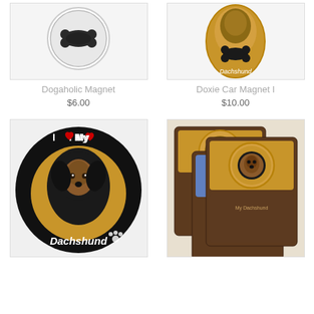[Figure (photo): Dogaholic Magnet product image - circular magnet with bone shape cutout, black and white]
[Figure (photo): Doxie Car Magnet I product image - Dachshund themed magnet in golden/tan color with bone shape and Dachshund text]
Dogaholic Magnet
$6.00
Doxie Car Magnet I
$10.00
[Figure (photo): I Love My Dachshund circular car magnet - black background with golden circle, portrait of black and tan dachshund, white paw print, text reads I Love My Dachshund]
[Figure (photo): Three Dachshund bottle opener magnets in packaging - showing yellow/orange, blue, and brown variants with dachshund photos]